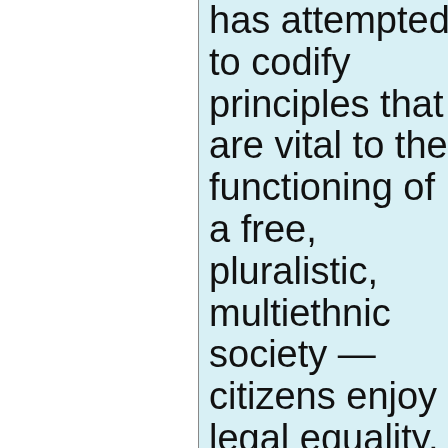has attempted to codify principles that are vital to the functioning of a free, pluralistic, multiethnic society — citizens enjoy legal equality, including